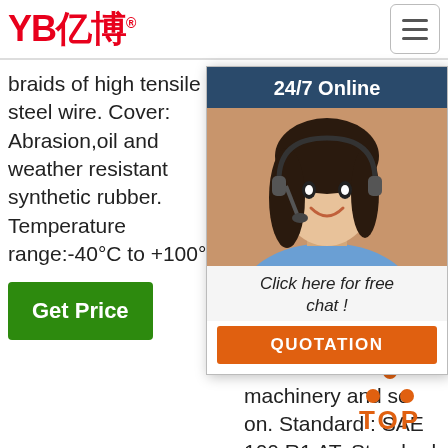YB亿博®
braids of high tensile steel wire. Cover: Abrasion,oil and weather resistant synthetic rubber. Temperature range:-40°C to +100°C
+250°F (-40°C to +121°C) Products Application : Hydraulic hose SAE 100 R1 EN 853 1SN can be used for forklift, hydraulic engine, oilfield extraction machinery, mine road construction machinery and so on. Standard : SAE 100 R1 AT. Standard : EN853 1SN.
steel wire braid. Cover: Abrasion and weather resistant synthetic rubber. Temperature range: -40...
[Figure (photo): Customer service agent with headset, chat support popup with '24/7 Online' header, 'Click here for free chat!' text, and orange QUOTATION button]
Get Price
Get Price
[Figure (other): Orange TOP button icon with dots arranged in upward-pointing triangle and the word TOP below]